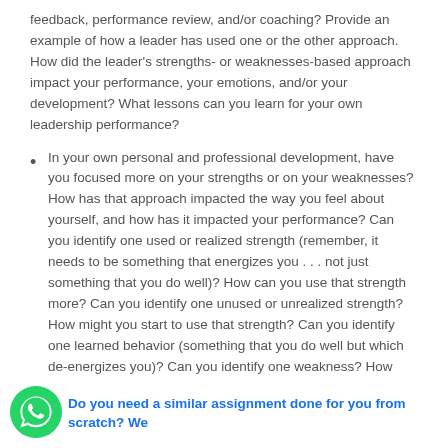feedback, performance review, and/or coaching? Provide an example of how a leader has used one or the other approach. How did the leader's strengths- or weaknesses-based approach impact your performance, your emotions, and/or your development? What lessons can you learn for your own leadership performance?
In your own personal and professional development, have you focused more on your strengths or on your weaknesses? How has that approach impacted the way you feel about yourself, and how has it impacted your performance? Can you identify one used or realized strength (remember, it needs to be something that energizes you . . . not just something that you do well)? How can you use that strength more? Can you identify one unused or unrealized strength? How might you start to use that strength? Can you identify one learned behavior (something that you do well but which de-energizes you)? Can you identify one weakness? How might you manage the learned behavior and weakness so that you do not become de-energized? In essence, how might you articulate a development plan for yourself?
Do you need a similar assignment done for you from scratch? We